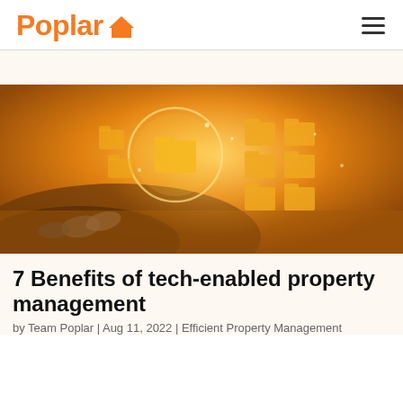Poplar [logo with house icon] | hamburger menu
[Figure (photo): Person's hands typing on a laptop with glowing golden digital folder icons displayed on and above the screen in an orange-toned tech visualization]
7 Benefits of tech-enabled property management
by Team Poplar | Aug 11, 2022 | Efficient Property Management